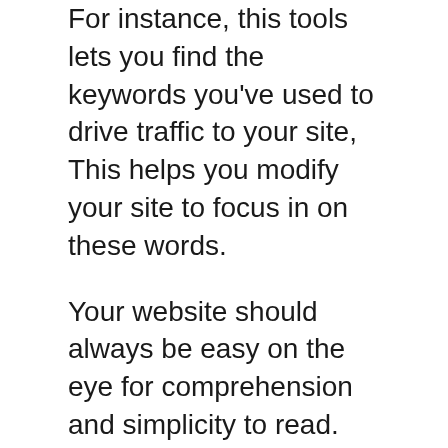For instance, this tools lets you find the keywords you've used to drive traffic to your site, This helps you modify your site to focus in on these words.
Your website should always be easy on the eye for comprehension and simplicity to read. Adding interactive functions to your website, like allowing users to change the font to their preferred size, can help to build your online reputation. While you are trying to optimize your site to get the best search engine results, keep the reader in mind as well.
You can improve your search rankings by including a variety of content within your specific niche, other than simply with...